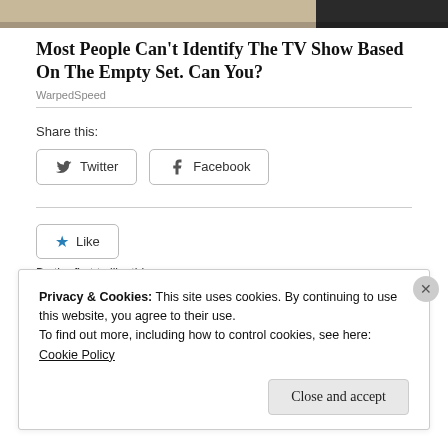[Figure (photo): Top strip of a photo showing what appears to be a TV set, with warm tones on the left and dark tones on the right.]
Most People Can't Identify The TV Show Based On The Empty Set. Can You?
WarpedSpeed
Share this:
Twitter
Facebook
Like
Be the first to like this.
Privacy & Cookies: This site uses cookies. By continuing to use this website, you agree to their use.
To find out more, including how to control cookies, see here:
Cookie Policy
Close and accept